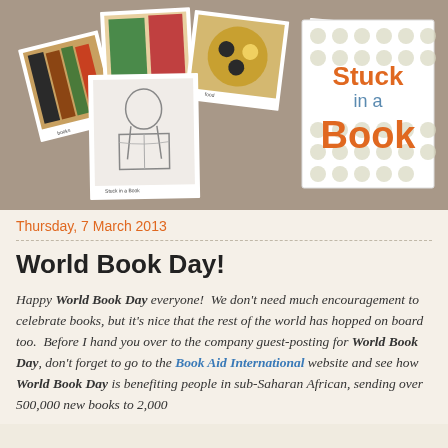[Figure (photo): Blog header banner showing a collage of polaroid-style photos (books, colorful covers, a pencil sketch of a person reading, food) on a textured grey-brown background, alongside the 'Stuck in a Book' blog logo featuring orange and blue text on a white card with dot pattern background]
Thursday, 7 March 2013
World Book Day!
Happy World Book Day everyone!  We don't need much encouragement to celebrate books, but it's nice that the rest of the world has hopped on board too.  Before I hand you over to the company guest-posting for World Book Day, don't forget to go to the Book Aid International website and see how World Book Day is benefiting people in sub-Saharan African, sending over 500,000 new books to 2,000